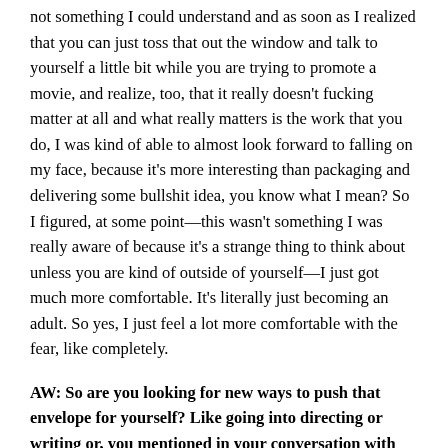not something I could understand and as soon as I realized that you can just toss that out the window and talk to yourself a little bit while you are trying to promote a movie, and realize, too, that it really doesn't fucking matter at all and what really matters is the work that you do, I was kind of able to almost look forward to falling on my face, because it's more interesting than packaging and delivering some bullshit idea, you know what I mean? So I figured, at some point—this wasn't something I was really aware of because it's a strange thing to think about unless you are kind of outside of yourself—I just got much more comfortable. It's literally just becoming an adult. So yes, I just feel a lot more comfortable with the fear, like completely.
AW: So are you looking for new ways to push that envelope for yourself? Like going into directing or writing or, you mentioned in your conversation with Shi, that you have apparently done a film that...